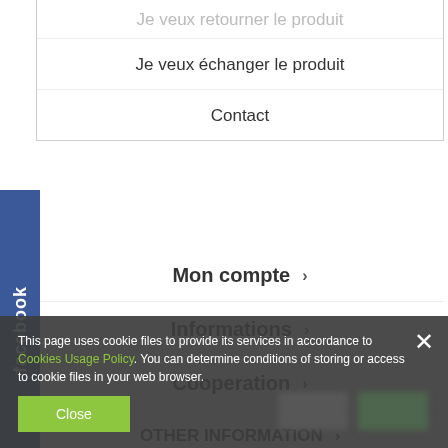Je veux retourner le produit
Je veux échanger le produit
Contact
Mon compte
Informations
Cooperation
OTHER INFORMATION
This page uses cookie files to provide its services in accordance to Cookies Usage Policy. You can determine conditions of storing or access to cookie files in your web browser.